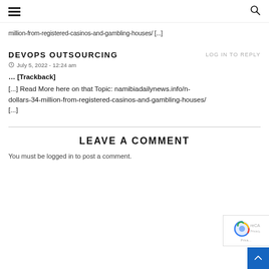Navigation menu and search icon
million-from-registered-casinos-and-gambling-houses/ [...]
DEVOPS OUTSOURCING
LOG IN TO REPLY
July 5, 2022 - 12:24 am
... [Trackback]
[...] Read More here on that Topic: namibiadailynews.info/n-dollars-34-million-from-registered-casinos-and-gambling-houses/ [...]
LEAVE A COMMENT
You must be logged in to post a comment.